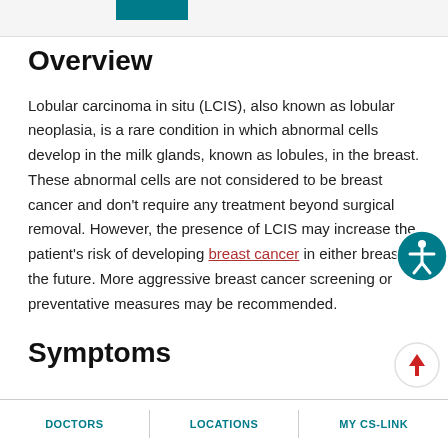Overview
Lobular carcinoma in situ (LCIS), also known as lobular neoplasia, is a rare condition in which abnormal cells develop in the milk glands, known as lobules, in the breast. These abnormal cells are not considered to be breast cancer and don't require any treatment beyond surgical removal. However, the presence of LCIS may increase the patient's risk of developing breast cancer in either breast in the future. More aggressive breast cancer screening or preventative measures may be recommended.
Symptoms
DOCTORS | LOCATIONS | MY CS-LINK